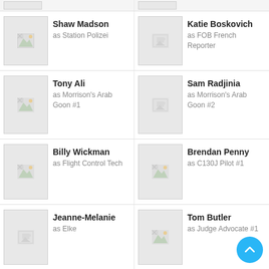Shaw Madson as Station Polizei
Katie Boskovich as FOB French Reporter
Tony Ali as Morrison's Arab Goon #1
Sam Radjinia as Morrison's Arab Goon #2
Billy Wickman as Flight Control Tech
Brendan Penny as C130J Pilot #1
Jeanne-Melanie as Elke
Tom Butler as Judge Advocate #1
Woody Carnahan as Judge Advocate #2
Don Knodel as German Doctor #2
Vince Murdocco
Fraser Aitcheson